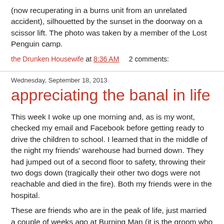(now recuperating in a burns unit from an unrelated accident), silhouetted by the sunset in the doorway on a scissor lift.  The photo was taken by a member of the Lost Penguin camp.
the Drunken Housewife at 8:36 AM    2 comments:
Wednesday, September 18, 2013
appreciating the banal in life
This week I woke up one morning and, as is my wont, checked my email and Facebook before getting ready to drive the children to school.  I learned that in the middle of the night my friends' warehouse had burned down.  They had jumped out of a second floor to safety, throwing their two dogs down (tragically their other two dogs were not reachable and died in the fire).  Both my friends were in the hospital.
These are friends who are in the peak of life, just married a couple of weeks ago at Burning Man (it is the groom who